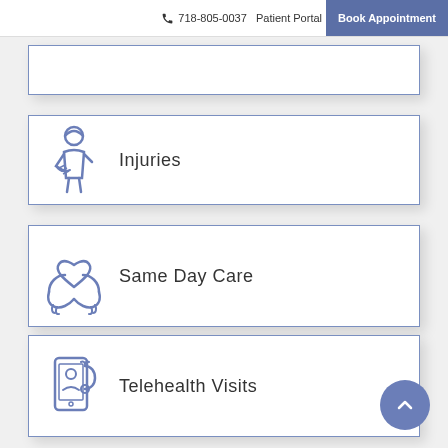718-805-0037 Patient Portal  Book Appointment
[Figure (illustration): Partially visible service card (cut off at top of page)]
[Figure (illustration): Service card with injured person icon and text 'Injuries']
[Figure (illustration): Service card with hands holding heart icon and text 'Same Day Care']
[Figure (illustration): Service card with telehealth/phone stethoscope icon and text 'Telehealth Visits']